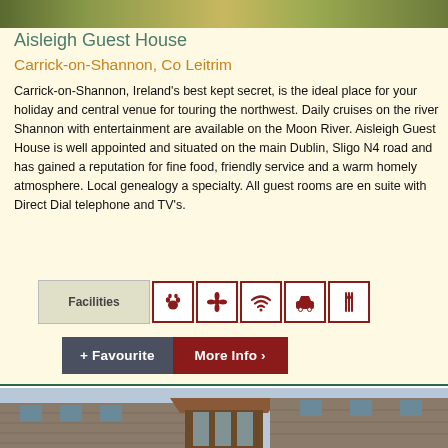[Figure (photo): Exterior garden/landscape photo at top of listing card]
Aisleigh Guest House
Carrick-on-Shannon, Co Leitrim
Carrick-on-Shannon, Ireland's best kept secret, is the ideal place for your holiday and central venue for touring the northwest. Daily cruises on the river Shannon with entertainment are available on the Moon River. Aisleigh Guest House is well appointed and situated on the main Dublin, Sligo N4 road and has gained a reputation for fine food, friendly service and a warm homely atmosphere. Local genealogy a specialty. All guest rooms are en suite with Direct Dial telephone and TV's.
[Figure (infographic): Facilities icons row: pets, flowers/spa, wifi, parking/car, restaurant/dining]
[Figure (infographic): Action buttons: + Favourite and More Info >]
[Figure (photo): Exterior photo of stone building with wooden canopy entrance at bottom of page]